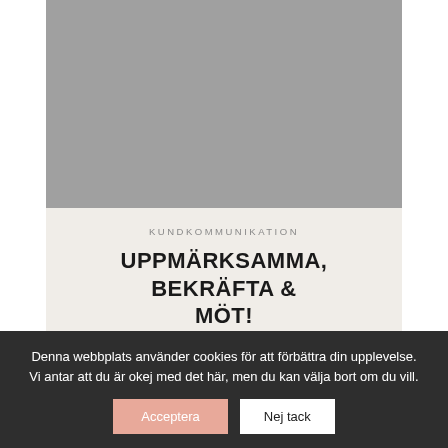[Figure (photo): Gray placeholder image area at the top of the page]
KUNDKOMMUNIKATION
UPPMÄRKSAMMA, BEKRÄFTA & MÖT!
EMMA BIRGERSSON · 23 april, 2019 · Inga kommentarer
Denna webbplats använder cookies för att förbättra din upplevelse. Vi antar att du är okej med det här, men du kan välja bort om du vill.